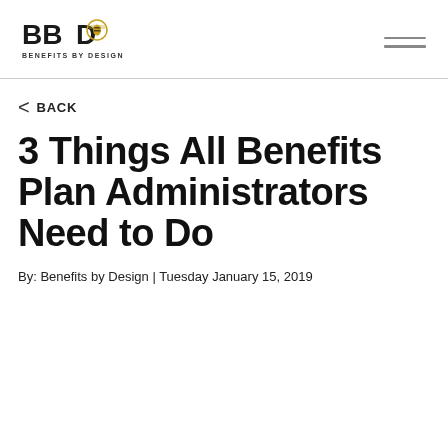[Figure (logo): BBD Benefits by Design logo with bee icon]
< BACK
3 Things All Benefits Plan Administrators Need to Do
By: Benefits by Design | Tuesday January 15, 2019